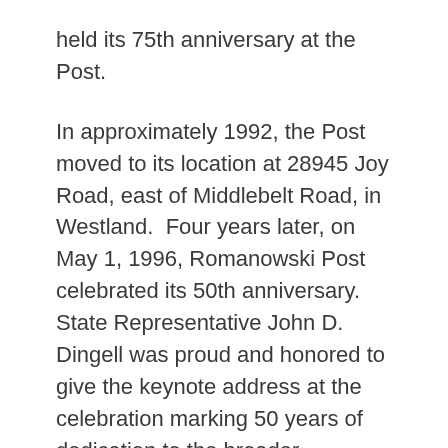held its 75th anniversary at the Post.
In approximately 1992, the Post moved to its location at 28945 Joy Road, east of Middlebelt Road, in Westland.  Four years later, on May 1, 1996, Romanowski Post celebrated its 50th anniversary.  State Representative John D. Dingell was proud and honored to give the keynote address at the celebration marking 50 years of dedication to the broader community.
According to a March 27, 2016, Observer & Eccentric newspaper article, a proposed sale of the building at 28945 Joy Road to House